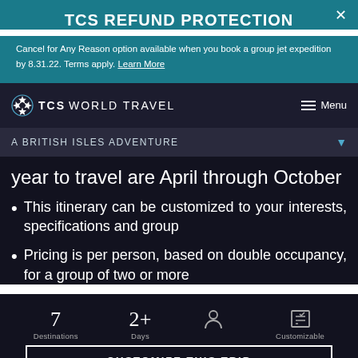TCS REFUND PROTECTION
Cancel for Any Reason option available when you book a group jet expedition by 8.31.22. Terms apply. Learn More
TCS WORLD TRAVEL  Menu
A BRITISH ISLES ADVENTURE
year to travel are April through October
This itinerary can be customized to your interests, specifications and group
Pricing is per person, based on double occupancy, for a group of two or more
7 Destinations   2+ Days   [person icon]   [checklist icon] Customizable
CUSTOMIZE THIS TRIP